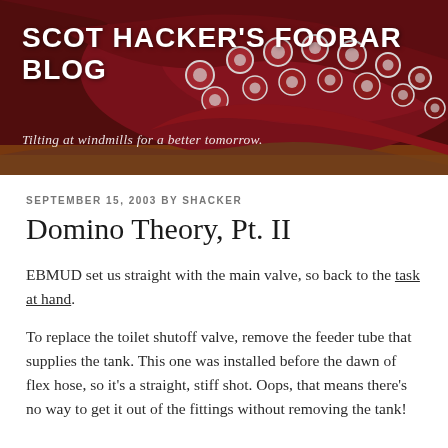[Figure (photo): Close-up photo of red/purple octopus tentacles with suckers on a wooden surface, serving as blog header background]
SCOT HACKER'S FOOBAR BLOG
Tilting at windmills for a better tomorrow.
SEPTEMBER 15, 2003 BY SHACKER
Domino Theory, Pt. II
EBMUD set us straight with the main valve, so back to the task at hand.
To replace the toilet shutoff valve, remove the feeder tube that supplies the tank. This one was installed before the dawn of flex hose, so it's a straight, stiff shot. Oops, that means there's no way to get it out of the fittings without removing the tank!